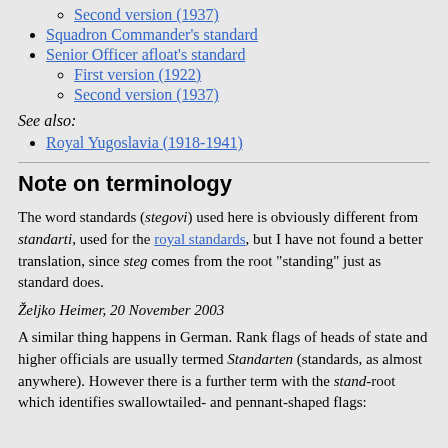Second version (1937)
Squadron Commander's standard
Senior Officer afloat's standard
First version (1922)
Second version (1937)
See also:
Royal Yugoslavia (1918-1941)
Note on terminology
The word standards (stegovi) used here is obviously different from standarti, used for the royal standards, but I have not found a better translation, since steg comes from the root "standing" just as standard does.
Željko Heimer, 20 November 2003
A similar thing happens in German. Rank flags of heads of state and higher officials are usually termed Standarten (standards, as almost anywhere). However there is a further term with the stand-root which identifies swallowtailed- and pennant-shaped flags: Stand...